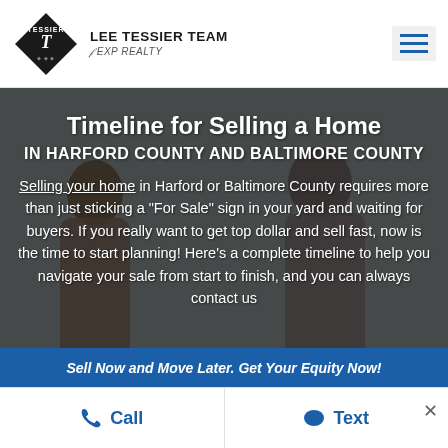[Figure (logo): Lee Tessier Team eXp Realty diamond logo with hamburger menu icon]
Timeline for Selling a Home
IN HARFORD COUNTY AND BALTIMORE COUNTY
Selling your home in Harford or Baltimore County requires more than just sticking a "For Sale" sign in your yard and waiting for buyers. If you really want to get top dollar and sell fast, now is the time to start planning! Here's a complete timeline to help you navigate your sale from start to finish, and you can always contact us
Sell Now and Move Later. Get Your Equity Now!
Call   Text